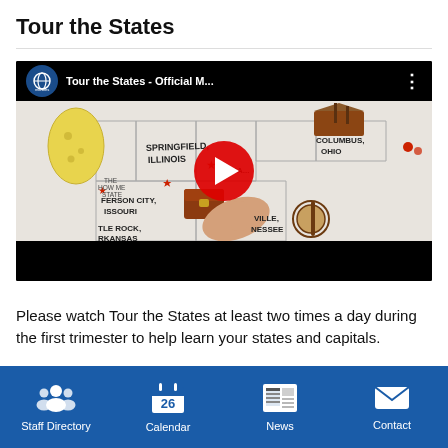Tour the States
[Figure (screenshot): YouTube video thumbnail showing a hand pointing to a hand-drawn illustrated map of US states with city labels (Springfield Illinois, Columbus Ohio, Jefferson City Missouri, Little Rock Arkansas, etc.) and a marbles the brain store logo. A red YouTube play button is centered on the video. Title reads 'Tour the States - Official M...']
Please watch Tour the States at least two times a day during the first trimester to help learn your states and capitals.
Staff Directory  |  Calendar  |  News  |  Contact